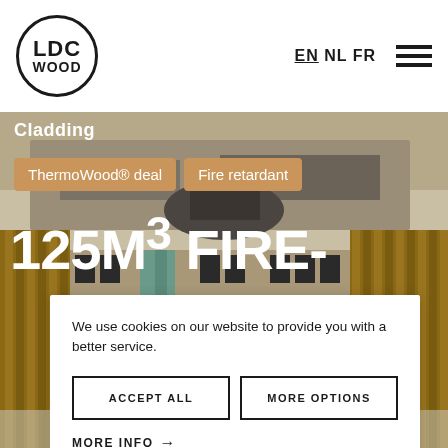[Figure (logo): LDC WOOD logo in a circle]
EN NL FR
[Figure (screenshot): Aerial photograph of a building with wooden cladding in snowy conditions]
Cladding
ThermoWood® deal
Fire retardant
125M³ FIRE-
We use cookies on our website to provide you with a better service.
ACCEPT ALL
MORE OPTIONS
MORE INFO →